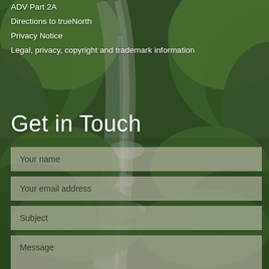ADV Part 2A
Directions to trueNorth
Privacy Notice
Legal, privacy, copyright and trademark information
[Figure (photo): Forest path with stream, lush green ferns and trees, rocky creek bed visible in center]
Get in Touch
Your name
Your email address
Subject
Message